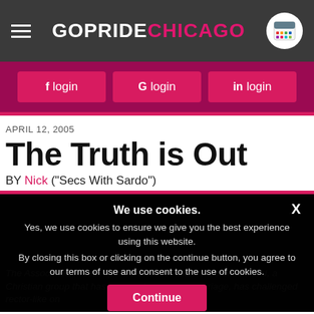GOPRIDE CHICAGO
f login  G login  in login
APRIL 12, 2005
The Truth is Out
BY Nick ("Secs With Sardo")
We use cookies.
Yes, we use cookies to ensure we give you the best experience using this website.
By closing this box or clicking on the continue button, you agree to our terms of use and consent to the use of cookies.
Continue
The Associated Press reported that the Alliance Defense Fund, a Christian group that has opposed same-sex marriage, has challenged rector-like on